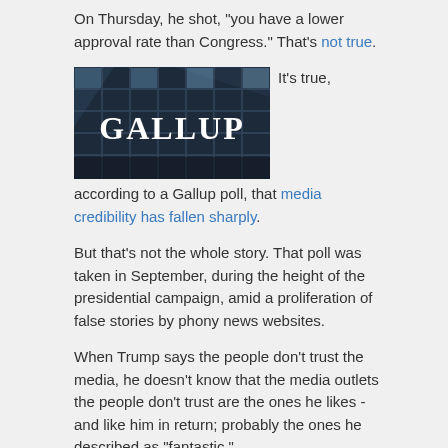On Thursday, he shot, "you have a lower approval rate than Congress." That's not true.
[Figure (photo): Photo of a glass building with 'GALLUP' written in large white letters on the facade]
It's true, according to a Gallup poll, that media credibility has fallen sharply.
But that's not the whole story. That poll was taken in September, during the height of the presidential campaign, amid a proliferation of false stories by phony news websites.
When Trump says the people don't trust the media, he doesn't know that the media outlets the people don't trust are the ones he likes - and like him in return; probably the ones he described as "fantastic."